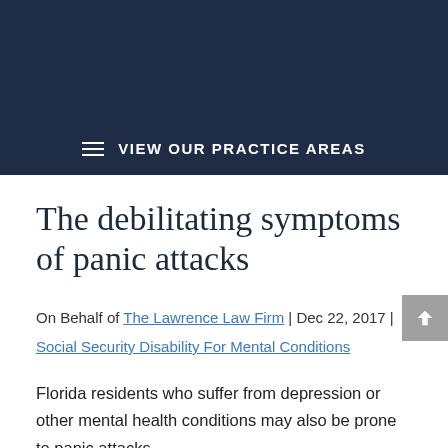VIEW OUR PRACTICE AREAS
The debilitating symptoms of panic attacks
On Behalf of The Lawrence Law Firm | Dec 22, 2017 | Social Security Disability For Mental Conditions
Florida residents who suffer from depression or other mental health conditions may also be prone to panic attacks.
More than six feelings of fear — a person experiencing a panic attack...